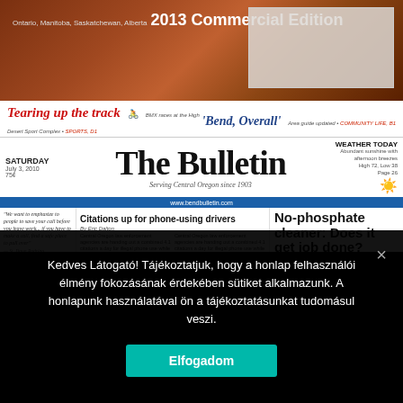[Figure (photo): Top banner with autumn/nature background and commercial edition text. Ontario, Manitoba, Saskatchewan, Alberta - 2013 Commercial Edition.]
[Figure (screenshot): Newspaper front page of The Bulletin. Includes teaser headlines 'Tearing up the track' and 'Bend, Overall', masthead 'The Bulletin - Serving Central Oregon since 1903', weather section, articles about Citations up for phone-using drivers, No-phosphate cleaner: Does it get job done?, and Making banner.]
Kedves Látogató! Tájékoztatjuk, hogy a honlap felhasználói élmény fokozásának érdekében sütiket alkalmazunk. A honlapunk használatával ön a tájékoztatásunkat tudomásul veszi.
Elfogadom